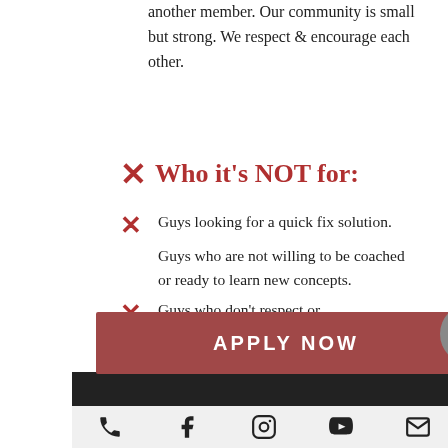another member. Our community is small but strong. We respect & encourage each other.
Who it's NOT for:
Guys looking for a quick fix solution.
Guys who are not willing to be coached or ready to learn new concepts.
Guys who don't respect or value teamwork.
[Figure (other): Red APPLY NOW button with upward chevron circle icon]
[Figure (other): Footer bar with social media icons: phone, Facebook, Instagram, YouTube, email]